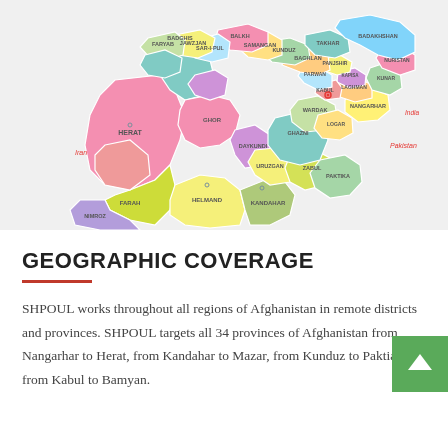[Figure (map): Colorful political map of Afghanistan showing all 34 provinces with labels, neighboring country labels (Iran, Pakistan, India), and provincial capitals marked with circles. Provinces are colored in various hues including green, pink, purple, yellow, teal, olive, and blue.]
GEOGRAPHIC COVERAGE
SHPOUL works throughout all regions of Afghanistan in remote districts and provinces. SHPOUL targets all 34 provinces of Afghanistan from Nangarhar to Herat, from Kandahar to Mazar, from Kunduz to Paktia, from Kabul to Bamyan.